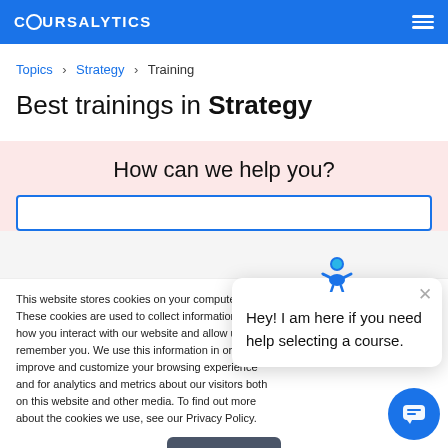COURSALYTICS
Topics > Strategy > Training
Best trainings in Strategy
How can we help you?
This website stores cookies on your computer. These cookies are used to collect information about how you interact with our website and allow us to remember you. We use this information in order to improve and customize your browsing experience and for analytics and metrics about our visitors both on this website and other media. To find out more about the cookies we use, see our Privacy Policy.
Accept
Hey! I am here if you need help selecting a course.